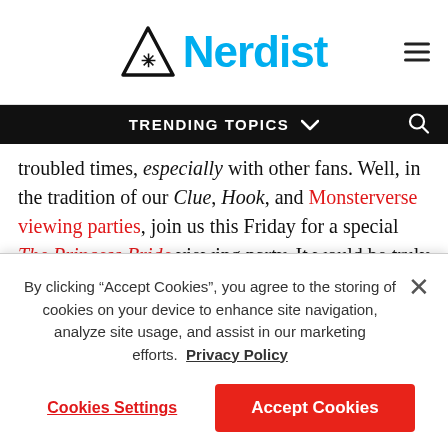Nerdist
TRENDING TOPICS
troubled times, especially with other fans. Well, in the tradition of our Clue, Hook, and Monsterverse viewing parties, join us this Friday for a special The Princess Bride viewing party. It would be truly inconceivable to miss it! (Sorry, I had to. It's mandatory).

You can watch The Princess Bride along with the Nerdist team by streaming it on Disney+, the very same day the
By clicking “Accept Cookies”, you agree to the storing of cookies on your device to enhance site navigation, analyze site usage, and assist in our marketing efforts. Privacy Policy
Cookies Settings
Accept Cookies